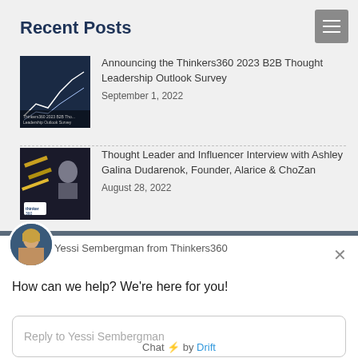Recent Posts
[Figure (screenshot): Thumbnail image for Thinkers360 2023 B2B Thought Leadership Outlook Survey post - dark blue background with chart lines]
Announcing the Thinkers360 2023 B2B Thought Leadership Outlook Survey
September 1, 2022
[Figure (screenshot): Thumbnail image for Ashley Galina Dudarenok interview post - dark background with person and thinkers360 logo]
Thought Leader and Influencer Interview with Ashley Galina Dudarenok, Founder, Alarice & ChoZan
August 28, 2022
[Figure (photo): Avatar circle photo of Yessi Sembergman]
Yessi Sembergman from Thinkers360
How can we help? We're here for you!
Reply to Yessi Sembergman
Chat ⚡ by Drift